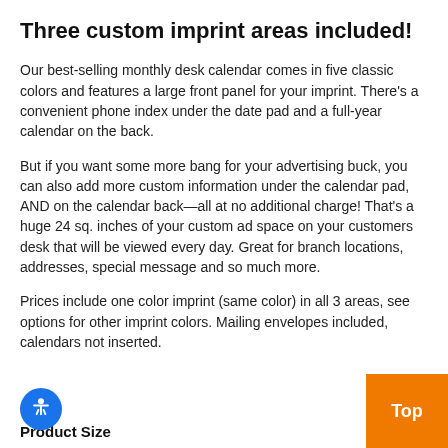Three custom imprint areas included!
Our best-selling monthly desk calendar comes in five classic colors and features a large front panel for your imprint. There's a convenient phone index under the date pad and a full-year calendar on the back.
But if you want some more bang for your advertising buck, you can also add more custom information under the calendar pad, AND on the calendar back—all at no additional charge! That's a huge 24 sq. inches of your custom ad space on your customers desk that will be viewed every day. Great for branch locations, addresses, special message and so much more.
Prices include one color imprint (same color) in all 3 areas, see options for other imprint colors. Mailing envelopes included, calendars not inserted.
Product Size